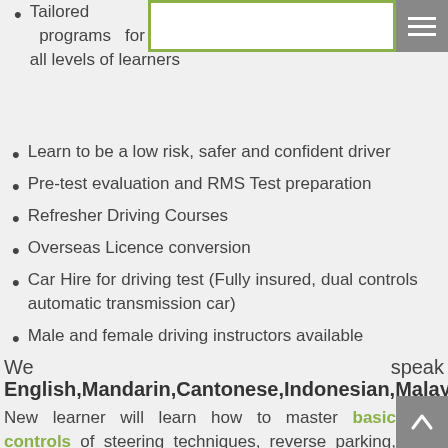Tailored programs for all levels of learners
Learn to be a low risk, safer and confident driver
Pre-test evaluation and RMS Test preparation
Refresher Driving Courses
Overseas Licence conversion
Car Hire for driving test (Fully insured, dual controls automatic transmission car)
Male and female driving instructors available
We speak English,Mandarin,Cantonese,Indonesian,Malaysian,Vientname
New learner will learn how to master basic controls of steering techniques, reverse parking, three point turn, kerb side stop, a safe following distance, hazards responses and observation checks (head check and over shoulder check)